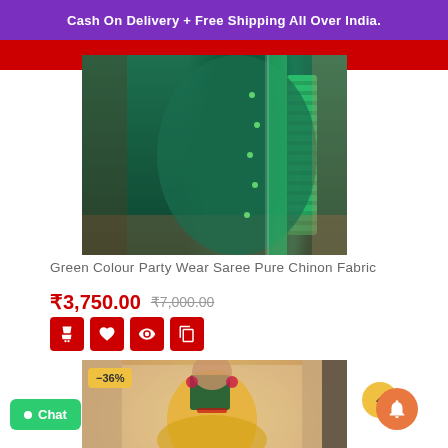Cash On Delivery + Free Shipping All Over India.
[Figure (photo): Green colour party wear saree model photo, teal/dark green saree with embroidery border, woman posing against stone backdrop]
Green Colour Party Wear Saree Pure Chinon Fabric
₹3,750.00  ₹7,000.00
[Figure (photo): Yellow and green saree model photo with -36% discount badge, woman wearing yellow saree with green blouse against ornate wall backdrop]